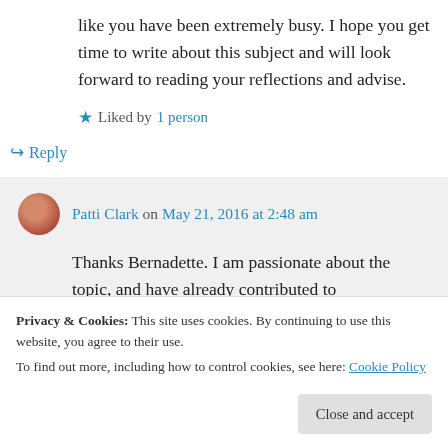like you have been extremely busy. I hope you get time to write about this subject and will look forward to reading your reflections and advise.
★ Liked by 1 person
↪ Reply
Patti Clark on May 21, 2016 at 2:48 am
Thanks Bernadette. I am passionate about the topic, and have already contributed to
here's a link to that article:
Privacy & Cookies: This site uses cookies. By continuing to use this website, you agree to their use.
To find out more, including how to control cookies, see here: Cookie Policy